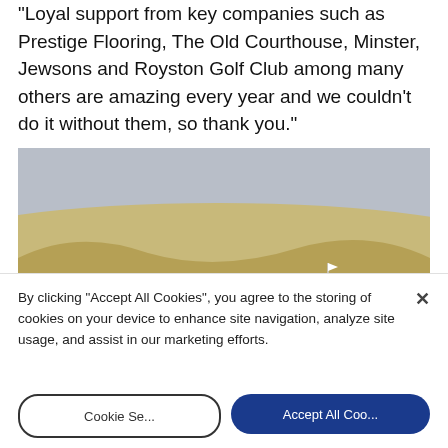“Loyal support from key companies such as Prestige Flooring, The Old Courthouse, Minster, Jewsons and Royston Golf Club among many others are amazing every year and we couldn’t do it without them, so thank you.”
[Figure (photo): Aerial/elevated view of a golf course with rolling hills, sandy rough, green fairway, a golf cart and several golfers visible in the foreground under a hazy sky.]
By clicking “Accept All Cookies”, you agree to the storing of cookies on your device to enhance site navigation, analyze site usage, and assist in our marketing efforts.